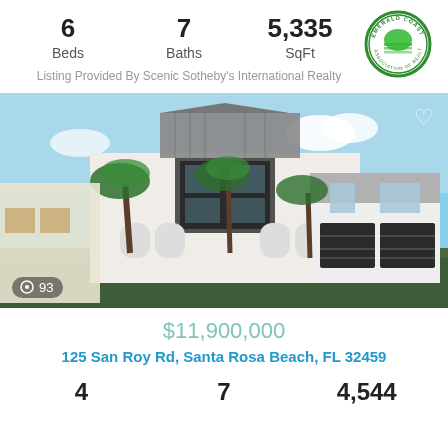6 Beds
7 Baths
5,335 SqFt
[Figure (logo): Emerald Coast Association of Realtors circular green logo]
Listing Provided By Scenic Sotheby's International Realty
[Figure (photo): Exterior photo of large white beach house with palm trees, metal roof, black garage doors, blue sky]
$11,900,000
125 San Roy Rd, Santa Rosa Beach, FL 32459
4
7
4,544